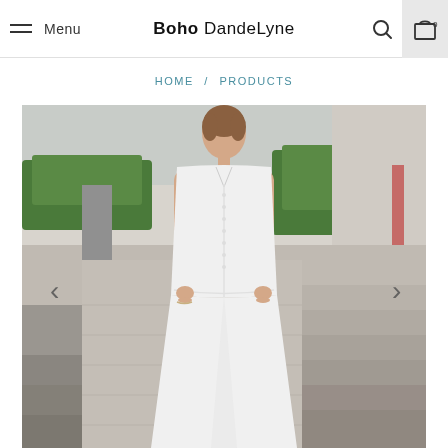Menu | Boho DandeLyne | Search | Cart 0
HOME / PRODUCTS
[Figure (photo): A woman wearing a white sleeveless midi dress with button front closure, photographed outdoors in a courtyard setting with green hedges and stone steps in the background. Navigation arrows are visible on left and right sides of the image.]